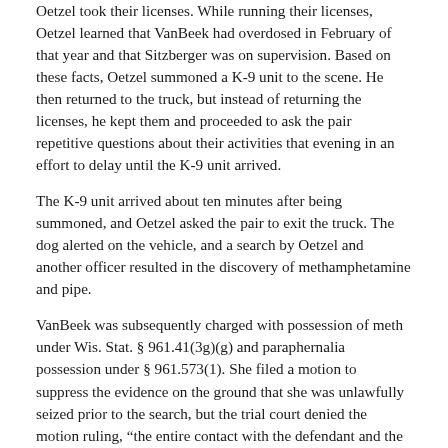Oetzel took their licenses. While running their licenses, Oetzel learned that VanBeek had overdosed in February of that year and that Sitzberger was on supervision. Based on these facts, Oetzel summoned a K-9 unit to the scene. He then returned to the truck, but instead of returning the licenses, he kept them and proceeded to ask the pair repetitive questions about their activities that evening in an effort to delay until the K-9 unit arrived.
The K-9 unit arrived about ten minutes after being summoned, and Oetzel asked the pair to exit the truck. The dog alerted on the vehicle, and a search by Oetzel and another officer resulted in the discovery of methamphetamine and pipe.
VanBeek was subsequently charged with possession of meth under Wis. Stat. § 961.41(3g)(g) and paraphernalia possession under § 961.573(1). She filed a motion to suppress the evidence on the ground that she was unlawfully seized prior to the search, but the trial court denied the motion ruling, “the entire contact with the defendant and the passenger was reasonable under a totality of the circumstances.”
VanBeek then pleaded no contest to the charges in order to appeal the denial. The court of appeals then sought clarification from the Wisconsin Supreme Court.
The Court stated: “The court of appeals certified the question of whether